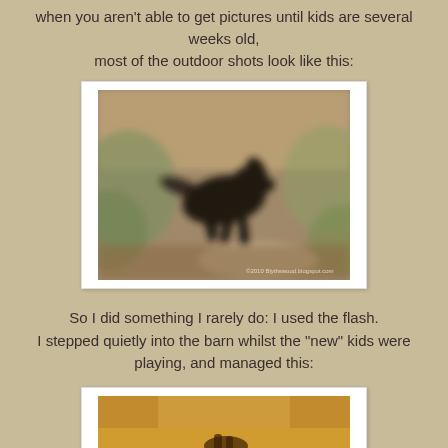when you aren't able to get pictures until kids are several weeks old, most of the outdoor shots look like this:
[Figure (photo): Blurry motion photo of a black dog running outdoors in a wooded area]
So I did something I rarely do: I used the flash. I stepped quietly into the barn whilst the "new" kids were playing, and managed this:
[Figure (photo): Partial view of a second photo showing what appears to be the inside of a barn]